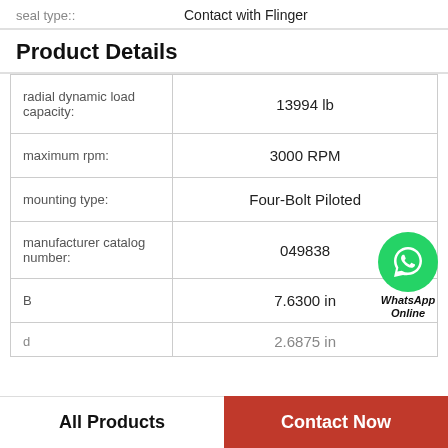seal type:: Contact with Flinger
Product Details
|  |  |
| --- | --- |
| radial dynamic load capacity: | 13994 lb |
| maximum rpm: | 3000 RPM |
| mounting type: | Four-Bolt Piloted |
| manufacturer catalog number: | 049838 |
| B | 7.6300 in |
| d | 2.6875 in |
All Products   Contact Now